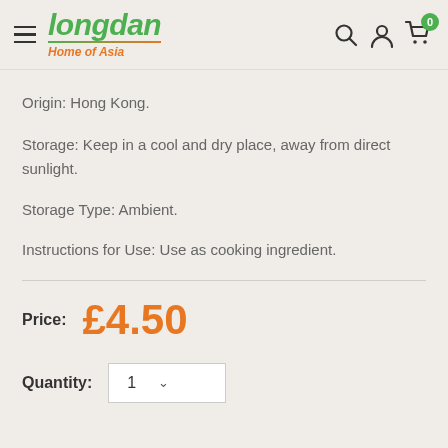Longdan Home of Asia
Origin: Hong Kong.
Storage: Keep in a cool and dry place, away from direct sunlight.
Storage Type: Ambient.
Instructions for Use: Use as cooking ingredient.
Price: £4.50
Quantity: 1